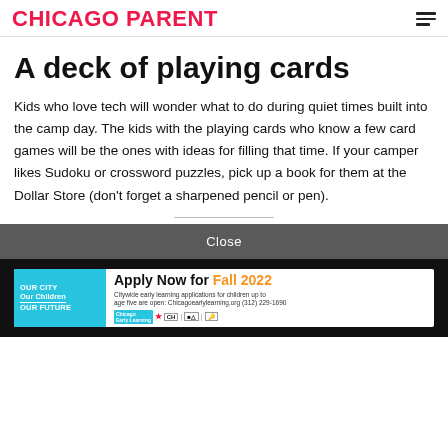CHICAGO PARENT
A deck of playing cards
Kids who love tech will wonder what to do during quiet times built into the camp day. The kids with the playing cards who know a few card games will be the ones with ideas for filling that time. If your camper likes Sudoku or crossword puzzles, pick up a book for them at the Dollar Store (don't forget a sharpened pencil or pen).
Close
[Figure (infographic): Advertisement banner for Chicago Early Learning: 'Apply Now for Fall 2022' with cyan left panel showing 'OUR CITY Our Children OUR FUTURE' text and logos on the right.]